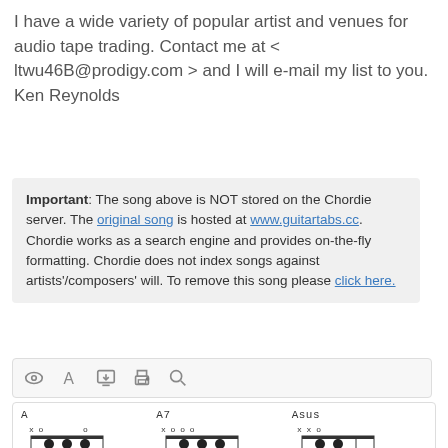I have a wide variety of popular artist and venues for audio tape trading. Contact me at < ltwu46B@prodigy.com > and I will e-mail my list to you.
Ken Reynolds
Important: The song above is NOT stored on the Chordie server. The original song is hosted at www.guitartabs.cc. Chordie works as a search engine and provides on-the-fly formatting. Chordie does not index songs against artists'/composers' will. To remove this song please click here.
[Figure (other): Toolbar with icons: eye, letter A, download screen, printer, magnifier]
[Figure (other): Guitar chord diagrams for A, A7, Asus, Bm, D, G chords shown as grid diagrams with finger positions]